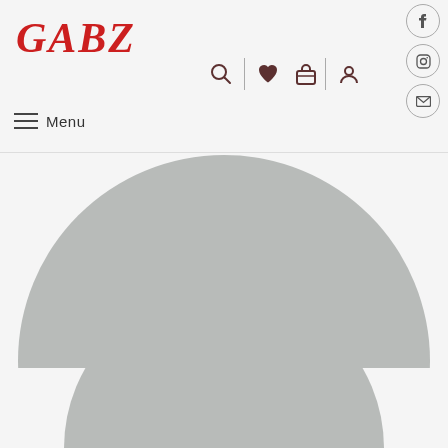GABZ — website header with logo, navigation icons, and menu bar
[Figure (illustration): Large circular grey profile photo placeholder showing LUCY ANDERSON, CEO / FOUNDER with social media icons (Facebook, Twitter, Pinterest). A second smaller grey circle is partially visible at the bottom of the page.]
LUCY ANDERSON
CEO / FOUNDER